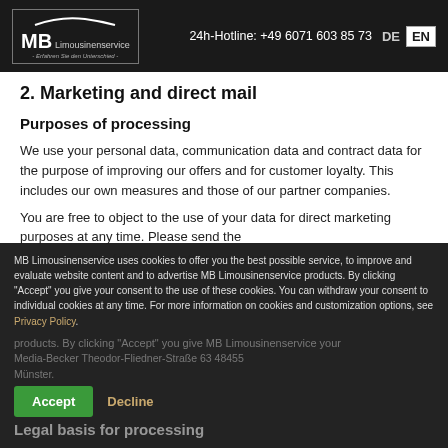MB Limousinenservice | 24h-Hotline: +49 6071 603 85 73 | DE | EN
2. Marketing and direct mail
Purposes of processing
We use your personal data, communication data and contract data for the purpose of improving our offers and for customer loyalty. This includes our own measures and those of our partner companies.
You are free to object to the use of your data for direct marketing purposes at any time. Please send the objection to the following contact: by e-mail to...
MB Limousinenservice uses cookies to offer you the best possible service, to improve and evaluate website content and to advertise MB Limousinenservice products. By clicking "Accept" you give your consent to the use of these cookies. You can withdraw your consent to individual cookies at any time. For more information on cookies and customization options, see Privacy Policy.
Legal basis for processing